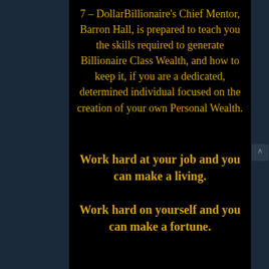7 – DollarBillionaire's Chief Mentor, Barron Hall, is prepared to teach you the skills required to generate Billionaire Class Wealth, and how to keep it, if you are a dedicated, determined individual focused on the creation of your own Personal Wealth.
Work hard at your job and you can make a living.
Work hard on yourself and you can make a fortune.